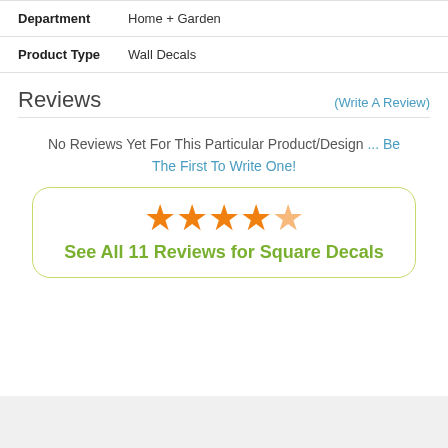| Attribute | Value |
| --- | --- |
| Department | Home + Garden |
| Product Type | Wall Decals |
Reviews
(Write A Review)
No Reviews Yet For This Particular Product/Design ... Be The First To Write One!
See All 11 Reviews for Square Decals